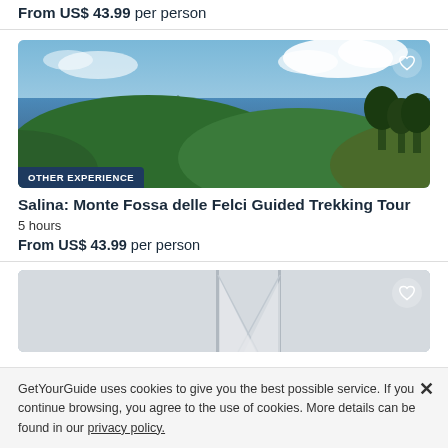From US$ 43.99 per person
[Figure (photo): Aerial mountain landscape view with green hills, blue sea, and cloudy sky — Salina trekking tour]
Salina: Monte Fossa delle Felci Guided Trekking Tour
5 hours
From US$ 43.99 per person
[Figure (photo): Sailboat masts against a light grey sky]
GetYourGuide uses cookies to give you the best possible service. If you continue browsing, you agree to the use of cookies. More details can be found in our privacy policy.